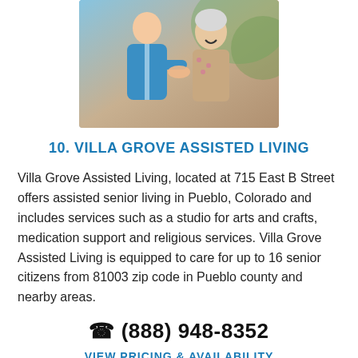[Figure (photo): Photo of a nurse in blue scrubs holding hands with an elderly woman who is laughing, seated outdoors]
10. VILLA GROVE ASSISTED LIVING
Villa Grove Assisted Living, located at 715 East B Street offers assisted senior living in Pueblo, Colorado and includes services such as a studio for arts and crafts, medication support and religious services. Villa Grove Assisted Living is equipped to care for up to 16 senior citizens from 81003 zip code in Pueblo county and nearby areas.
(888) 948-8352
VIEW PRICING & AVAILABILITY